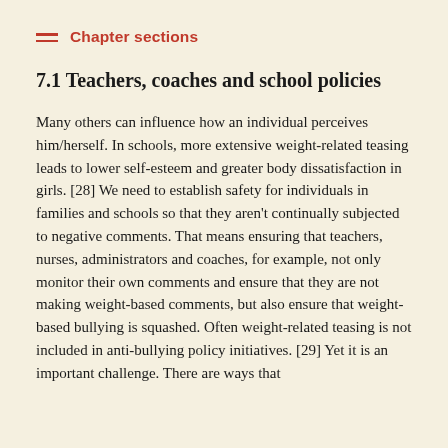Chapter sections
7.1 Teachers, coaches and school policies
Many others can influence how an individual perceives him/herself. In schools, more extensive weight-related teasing leads to lower self-esteem and greater body dissatisfaction in girls. [28] We need to establish safety for individuals in families and schools so that they aren't continually subjected to negative comments. That means ensuring that teachers, nurses, administrators and coaches, for example, not only monitor their own comments and ensure that they are not making weight-based comments, but also ensure that weight-based bullying is squashed. Often weight-related teasing is not included in anti-bullying policy initiatives. [29] Yet it is an important challenge. There are ways that